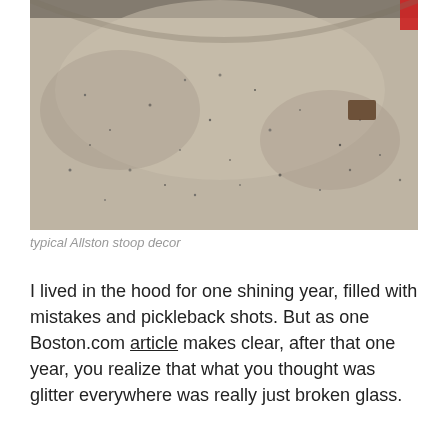[Figure (photo): Close-up photograph of a concrete or asphalt stoop/ground surface with a mottled gray texture scattered with small dark specks, pieces of debris, and broken glass fragments. Red object partially visible in upper right corner.]
typical Allston stoop decor
I lived in the hood for one shining year, filled with mistakes and pickleback shots. But as one Boston.com article makes clear, after that one year, you realize that what you thought was glitter everywhere was really just broken glass.